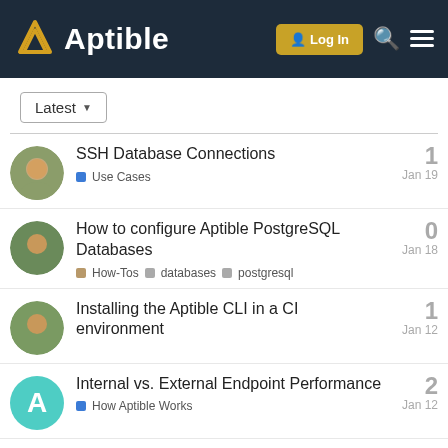Aptible — Log In
Latest
SSH Database Connections — Use Cases — 1 reply — Jan 19
How to configure Aptible PostgreSQL Databases — How-Tos, databases, postgresql — 0 replies — Jan 18
Installing the Aptible CLI in a CI environment — 1 reply — Jan 12
Internal vs. External Endpoint Performance — How Aptible Works — 2 replies — Jan 12